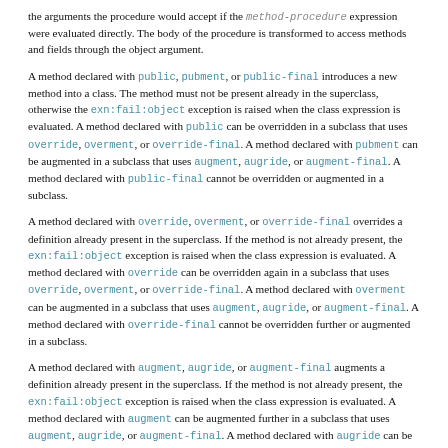the arguments the procedure would accept if the method-procedure expression were evaluated directly. The body of the procedure is transformed to access methods and fields through the object argument.
A method declared with public, pubment, or public-final introduces a new method into a class. The method must not be present already in the superclass, otherwise the exn:fail:object exception is raised when the class expression is evaluated. A method declared with public can be overridden in a subclass that uses override, overment, or override-final. A method declared with pubment can be augmented in a subclass that uses augment, augride, or augment-final. A method declared with public-final cannot be overridden or augmented in a subclass.
A method declared with override, overment, or override-final overrides a definition already present in the superclass. If the method is not already present, the exn:fail:object exception is raised when the class expression is evaluated. A method declared with override can be overridden again in a subclass that uses override, overment, or override-final. A method declared with overment can be augmented in a subclass that uses augment, augride, or augment-final. A method declared with override-final cannot be overridden further or augmented in a subclass.
A method declared with augment, augride, or augment-final augments a definition already present in the superclass. If the method is not already present, the exn:fail:object exception is raised when the class expression is evaluated. A method declared with augment can be augmented further in a subclass that uses augment, augride, or augment-final. A method declared with augride can be overridden in a subclass that uses override, overment, or